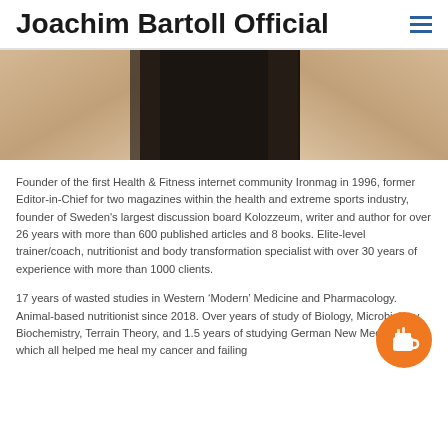Joachim Bartoll Official
[Figure (photo): Cropped photo of a muscular person flexing arms, wearing a black shirt, visible forearms and biceps from shoulders up]
Founder of the first Health & Fitness internet community Ironmag in 1996, former Editor-in-Chief for two magazines within the health and extreme sports industry, founder of Sweden's largest discussion board Kolozzeum, writer and author for over 26 years with more than 600 published articles and 8 books. Elite-level trainer/coach, nutritionist and body transformation specialist with over 30 years of experience with more than 1000 clients.
17 years of wasted studies in Western ‘Modern’ Medicine and Pharmacology. Animal-based nutritionist since 2018. Over years of study of Biology, Microbiology, Biochemistry, Terrain Theory, and 1.5 years of studying German New Medicine – which all helped me heal my cancer and failing